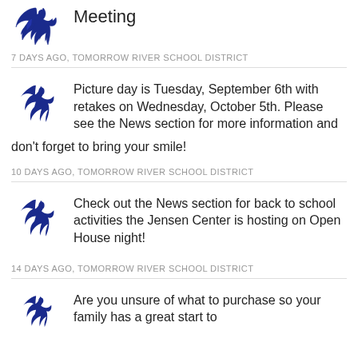Meeting
7 DAYS AGO, TOMORROW RIVER SCHOOL DISTRICT
Picture day is Tuesday, September 6th with retakes on Wednesday, October 5th. Please see the News section for more information and don't forget to bring your smile!
10 DAYS AGO, TOMORROW RIVER SCHOOL DISTRICT
Check out the News section for back to school activities the Jensen Center is hosting on Open House night!
14 DAYS AGO, TOMORROW RIVER SCHOOL DISTRICT
Are you unsure of what to purchase so your family has a great start to